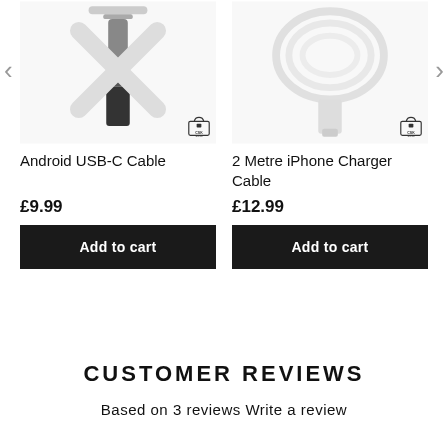[Figure (photo): Android USB-C Cable product image with CSK Gifts logo]
[Figure (photo): 2 Metre iPhone Charger Cable product image with CSK Gifts logo]
Android USB-C Cable
2 Metre iPhone Charger Cable
£9.99
£12.99
Add to cart
Add to cart
CUSTOMER REVIEWS
Based on 3 reviews Write a review